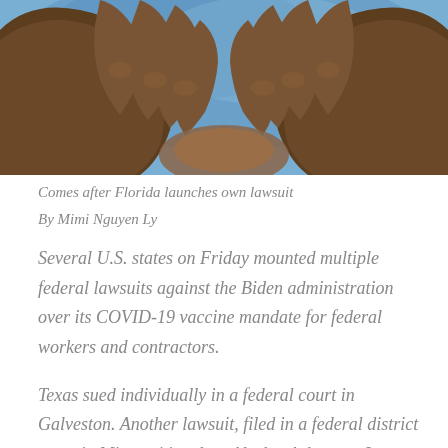[Figure (photo): Close-up photo of a person's hands clasped together, holding something small, with a blue background. Warm brown skin tones visible.]
Comes after Florida launches own lawsuit
By Mimi Nguyen Ly
Several U.S. states on Friday mounted multiple federal lawsuits against the Biden administration over its COVID-19 vaccine mandate for federal workers and contractors.
Texas sued individually in a federal court in Galveston. Another lawsuit, filed in a federal district court in Missouri involves Alaska, Arkansas, Iowa, Missouri, Montana, Nebraska, New Hampshire, North Dakota